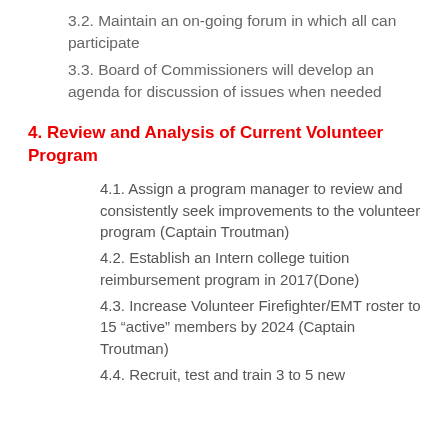3.2. Maintain an on-going forum in which all can participate
3.3. Board of Commissioners will develop an agenda for discussion of issues when needed
4. Review and Analysis of Current Volunteer Program
4.1. Assign a program manager to review and consistently seek improvements to the volunteer program (Captain Troutman)
4.2. Establish an Intern college tuition reimbursement program in 2017(Done)
4.3. Increase Volunteer Firefighter/EMT roster to 15 “active” members by 2024 (Captain Troutman)
4.4. Recruit, test and train 3 to 5 new